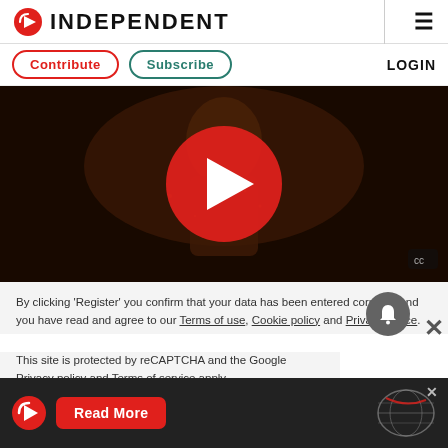INDEPENDENT
Contribute  Subscribe  LOGIN
[Figure (screenshot): Video thumbnail showing a performer on stage with dark background, overlaid with a large red circular play button]
By clicking 'Register' you confirm that your data has been entered correctly and you have read and agree to our Terms of use, Cookie policy and Privacy notice.
This site is protected by reCAPTCHA and the Google Privacy policy and Terms of service apply.
[Figure (infographic): Bottom ad bar for The Independent with logo, Read More button, globe graphic, and close X button]